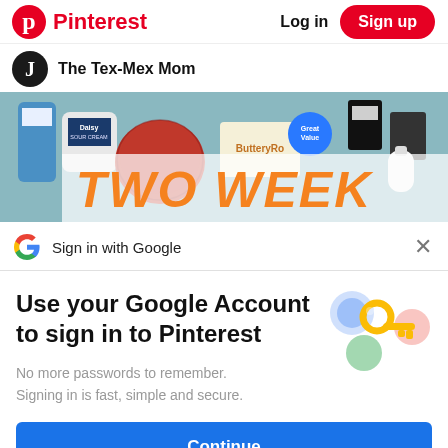Pinterest   Log in   Sign up
The Tex-Mex Mom
[Figure (photo): Grocery items photo with text overlay reading TWO WEEK]
Sign in with Google
Use your Google Account to sign in to Pinterest
No more passwords to remember. Signing in is fast, simple and secure.
[Figure (illustration): Google key illustration with colored circles]
Continue